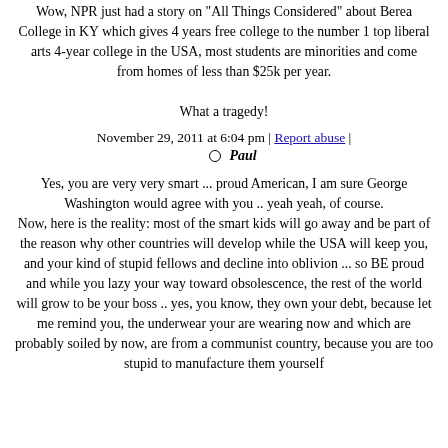Wow, NPR just had a story on "All Things Considered" about Berea College in KY which gives 4 years free college to the number 1 top liberal arts 4-year college in the USA, most students are minorities and come from homes of less than $25k per year.

What a tragedy!
November 29, 2011 at 6:04 pm | Report abuse | Paul
Yes, you are very very smart ... proud American, I am sure George Washington would agree with you .. yeah yeah, of course.
Now, here is the reality: most of the smart kids will go away and be part of the reason why other countries will develop while the USA will keep you, and your kind of stupid fellows and decline into oblivion ... so BE proud and while you lazy your way toward obsolescence, the rest of the world will grow to be your boss .. yes, you know, they own your debt, because let me remind you, the underwear your are wearing now and which are probably soiled by now, are from a communist country, because you are too stupid to manufacture them yourself